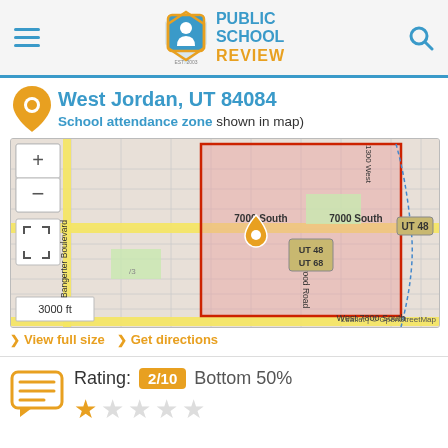[Figure (logo): Public School Review logo with shield icon, blue and orange text]
West Jordan, UT 84084
(School attendance zone shown in map)
[Figure (map): Street map of West Jordan, UT 84084 showing school attendance zone highlighted in red/pink, with map controls, location pin, street labels including 7000 South, Redwood Road, Bangerter Boulevard, UT 48, UT 68 route markers, and scale bar showing 3000 ft. Attribution: Leaflet | © OpenStreetMap]
View full size   Get directions
Rating: 2/10  Bottom 50%